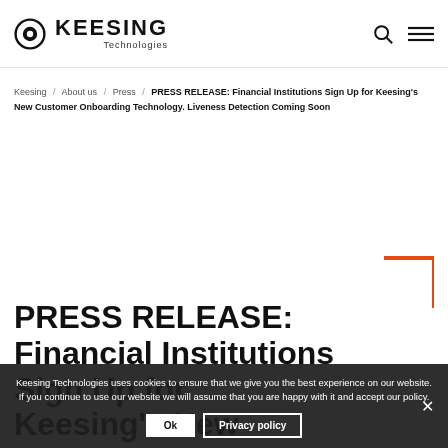Keesing Technologies
Keesing / About us / Press / PRESS RELEASE: Financial Institutions Sign Up for Keesing's New Customer Onboarding Technology. Liveness Detection Coming Soon
PRESS RELEASE: Financial Institutions Sign Up for Keesing's New Customer Onboarding Technology. Liveness Detection Coming Soon
Keesing Technologies uses cookies to ensure that we give you the best experience on our website. If you continue to use our website we will assume that you are happy with it and accept our policy.